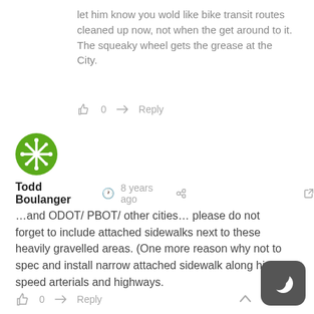let him know you wold like bike transit routes cleaned up now, not when the get around to it.
The squeaky wheel gets the grease at the City.
👍 0   ➜ Reply
[Figure (logo): Green circular avatar with white snowflake/asterisk pattern for Todd Boulanger]
Todd Boulanger  🕐 8 years ago  🔗  ⧉
…and ODOT/ PBOT/ other cities… please do not forget to include attached sidewalks next to these heavily gravelled areas. (One more reason why not to spec and install narrow attached sidewalk along higher speed arterials and highways.
👍 0   ➜ Reply   ∧
[Figure (logo): Dark grey rounded square night mode toggle button with crescent moon icon]